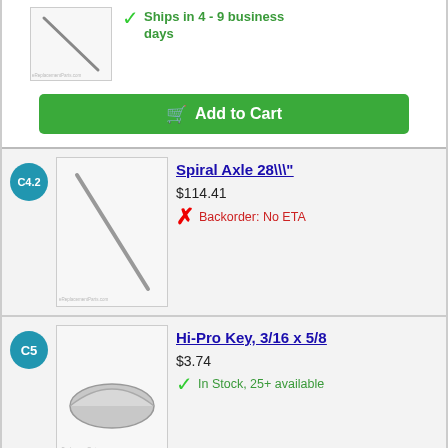[Figure (photo): Partial product image of a spiral axle rod (diagonal), with watermark eReplacementParts.com]
Ships in 4 - 9 business days
Add to Cart
C4.2
[Figure (photo): Product image of Spiral Axle 28\" rod (diagonal), with watermark eReplacementParts.com]
Spiral Axle 28\\\"
$114.41
Backorder: No ETA
C5
[Figure (photo): Product image of Hi-Pro Key, 3/16 x 5/8, small metal part, with watermark eReplacementParts.com]
Hi-Pro Key, 3/16 x 5/8
$3.74
In Stock, 25+ available
Add to Cart